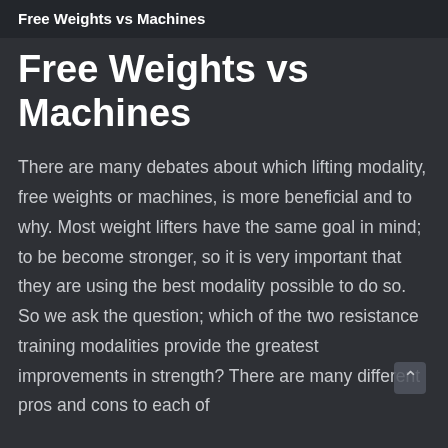Free Weights vs Machines
Free Weights vs Machines
There are many debates about which lifting modality, free weights or machines, is more beneficial and to why. Most weight lifters have the same goal in mind; to be become stronger, so it is very important that they are using the best modality possible to do so. So we ask the question; which of the two resistance training modalities provide the greatest improvements in strength? There are many different pros and cons to each of